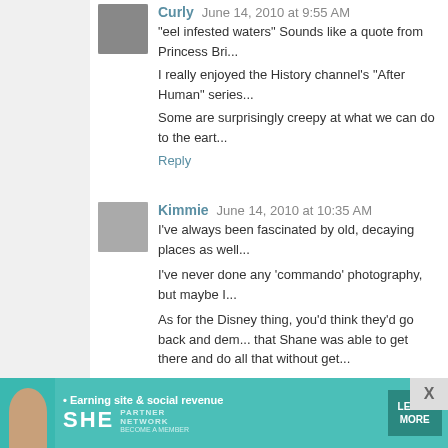Curly · June 14, 2010 at 9:55 AM
"eel infested waters" Sounds like a quote from Princess Bride. I really enjoyed the History channel's "After Human" series. Some are surprisingly creepy at what we can do to the earth...
Reply
Kimmie · June 14, 2010 at 10:35 AM
I've always been fascinated by old, decaying places as well.

I've never done any 'commando' photography, but maybe I...

As for the Disney thing, you'd think they'd go back and dem... that Shane was able to get there and do all that without get...
Reply
Squidley · June 14, 2010 at 10:52 AM
You would appreciate "Weird New Jersey." It's a magazine... lights, and creepy/funny roadside attractions. I've roamed... insane asylum/"epileptic village." They made a book, then... probably one for Florida. Totally awesome. http://www.weir...
Reply
[Figure (infographic): Advertisement banner for SHE Partner Network: Earning site & social revenue. Shows a woman, SHE logo, PARTNER NETWORK, BECOME A MEMBER, and LEARN MORE button.]